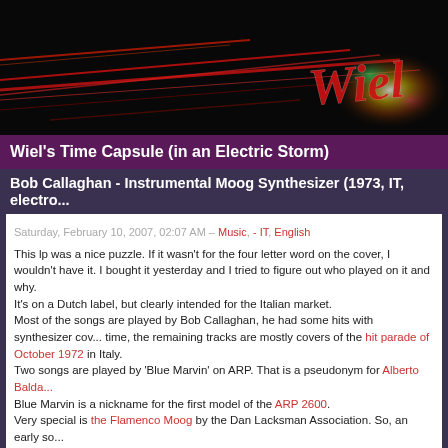[Figure (photo): Dark banner image with colorful light streaks and cursive 'Wiel' logo text in red/white against black background]
Wiel's Time Capsule (in an Electric Storm)
Bob Callaghan - Instrumental Moog Synthesizer (1973, IT, electro...
Saturday, February 10, 2007, 02:07 AM – Music, - IT, English
This lp was a nice puzzle. If it wasn't for the four letter word on the cover, I wouldn't have it. I bought it yesterday and I tried to figure out who played on it and why.
It's on a Dutch label, but clearly intended for the Italian market.
Most of the songs are played by Bob Callaghan, he had some hits with synthesizer covers at the time, the remaining tracks are mostly covers of the hit parade of October 1972 in Italy.
Two songs are played by 'Blue Marvin' on ARP. That is a pseudonym for Alberto Balda...
Blue Marvin is a nickname for the first model of the ARP 2600.
Very special is the Flamenco Moog by the Dan Lacksman Association. So, an early so... Lacksman, later member of Telex and performer of Disco-Computer as Transvolta, a ... of mine. Lacksman had an lp with the same title, I would love to hear that. And the 7"... a Cold Beer'.
A lot of the stuff is available on cd again.
[Figure (photo): Album cover showing 'INSTRUMENTAL' text in large italic letters on orange/yellow background with a man's face on the right side]